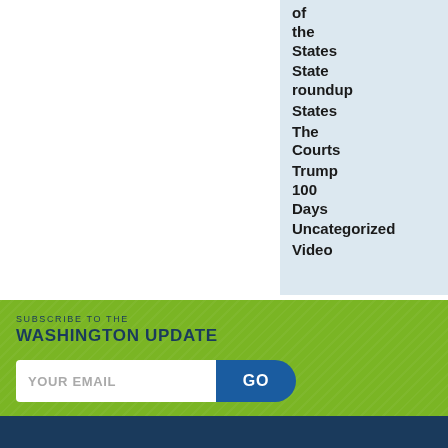of the States
State roundup
States
The Courts
Trump 100 Days
Uncategorized
Video
SUBSCRIBE TO THE WASHINGTON UPDATE
YOUR EMAIL  GO